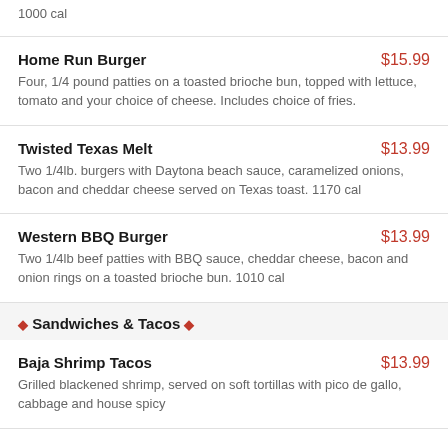1000 cal
Home Run Burger $15.99 — Four, 1/4 pound patties on a toasted brioche bun, topped with lettuce, tomato and your choice of cheese. Includes choice of fries.
Twisted Texas Melt $13.99 — Two 1/4lb. burgers with Daytona beach sauce, caramelized onions, bacon and cheddar cheese served on Texas toast. 1170 cal
Western BBQ Burger $13.99 — Two 1/4lb beef patties with BBQ sauce, cheddar cheese, bacon and onion rings on a toasted brioche bun. 1010 cal
Sandwiches & Tacos
Baja Shrimp Tacos $13.99 — Grilled blackened shrimp, served on soft tortillas with pico de gallo, cabbage and house spicy